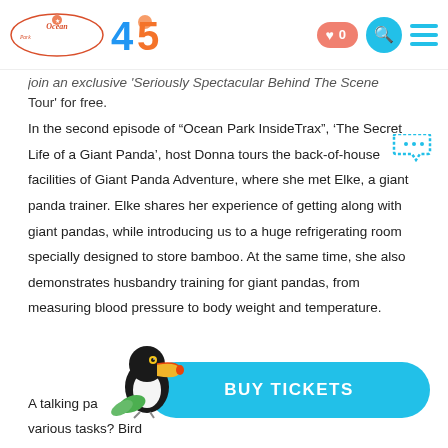Ocean Park 45th Anniversary header with navigation icons
join an exclusive 'Seriously Spectacular Behind The Scene Tour' for free.
In the second episode of “Ocean Park InsideTrax”, ‘The Secret Life of a Giant Panda’, host Donna tours the back-of-house facilities of Giant Panda Adventure, where she met Elke, a giant panda trainer. Elke shares her experience of getting along with giant pandas, while introducing us to a huge refrigerating room specially designed to store bamboo. At the same time, she also demonstrates husbandry training for giant pandas, from measuring blood pressure to body weight and temperature.
A talking pa... ever wondered how parrots are trained to do various tasks? Bird
[Figure (illustration): Toucan bird illustration with colorful beak]
[Figure (other): BUY TICKETS button in cyan/teal color]